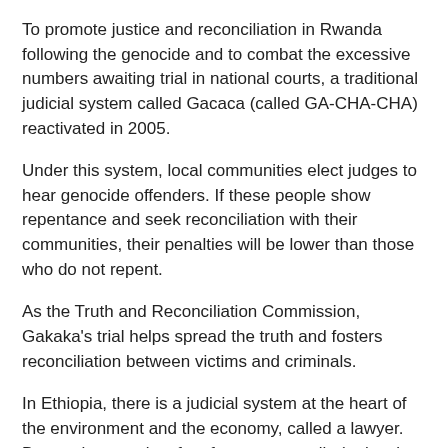To promote justice and reconciliation in Rwanda following the genocide and to combat the excessive numbers awaiting trial in national courts, a traditional judicial system called Gacaca (called GA-CHA-CHA) reactivated in 2005.
Under this system, local communities elect judges to hear genocide offenders. If these people show repentance and seek reconciliation with their communities, their penalties will be lower than those who do not repent.
As the Truth and Reconciliation Commission, Gakaka's trial helps spread the truth and fosters reconciliation between victims and criminals.
In Ethiopia, there is a judicial system at the heart of the environment and the economy, called a lawyer. Due to the scarcity of surface water, wells (or local as well as local governments) are very important, especially in pastoral areas.